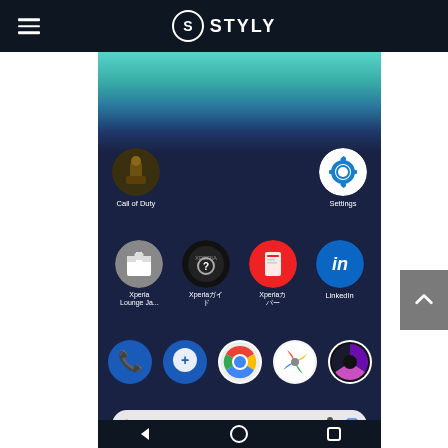STYLY
[Figure (screenshot): Android phone home screen showing app icons including Call of Duty, Settings, Xperia Lounge Ja..., Xperiaガイド, Xperiaカバー, LinkedIn, and dock icons (Phone, Messaging, Chrome, Pinwheel, and another app), with a Google search bar and navigation buttons at the bottom. Blue/teal gradient wallpaper background.]